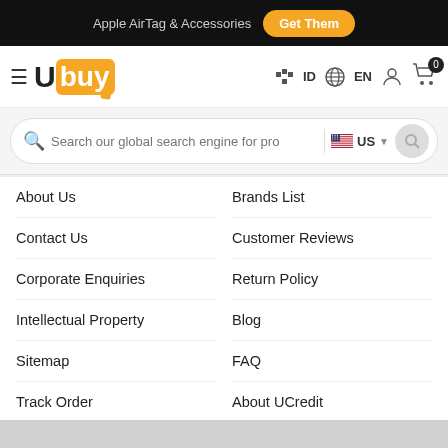Apple AirTag & Accessories  Get Them
[Figure (logo): Ubuy logo with hamburger menu, country selector (ID), language (EN), user icon, and cart icon with badge 0]
[Figure (screenshot): Search bar with placeholder text 'Search our global search engine for pro', US flag dropdown, and search button]
About Us
Brands List
Contact Us
Customer Reviews
Corporate Enquiries
Return Policy
Intellectual Property
Blog
Sitemap
FAQ
Track Order
About UCredit
Customs Tariffs And Fees
Ubuy Affiliates
Shipping Policy